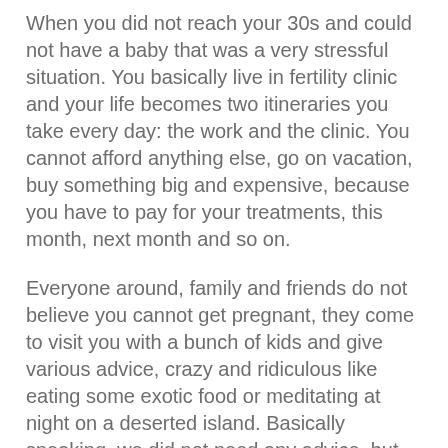When you did not reach your 30s and could not have a baby that was a very stressful situation. You basically live in fertility clinic and your life becomes two itineraries you take every day: the work and the clinic. You cannot afford anything else, go on vacation, buy something big and expensive, because you have to pay for your treatments, this month, next month and so on.
Everyone around, family and friends do not believe you cannot get pregnant, they come to visit you with a bunch of kids and give various advice, crazy and ridiculous like eating some exotic food or meditating at night on a deserted island. Basically speaking, we did not need any advice, but rather a good laugh would save our days.
In August LoCo Motion Pictures released How To Buy A Baby Season 2 CBC Gem. Season 1 dealt mainly with themes surrounding infertility. The series follows a couple, Charlie and Jane, who gave up having a baby the fun way. They decide to take IVF treatments and survive in the world of emotional and financial pressures of infertility. Hard, easy, frustrating and funny. Season 2 takes an honest look at